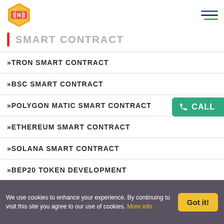SMART CONTRACT
»TRON SMART CONTRACT
»BSC SMART CONTRACT
»POLYGON MATIC SMART CONTRACT
»ETHEREUM SMART CONTRACT
»SOLANA SMART CONTRACT
»BEP20 TOKEN DEVELOPMENT
NADCAB PRODUCT
We use cookies to enhance your experience. By continuing to visit this site you agree to our use of cookies. More info